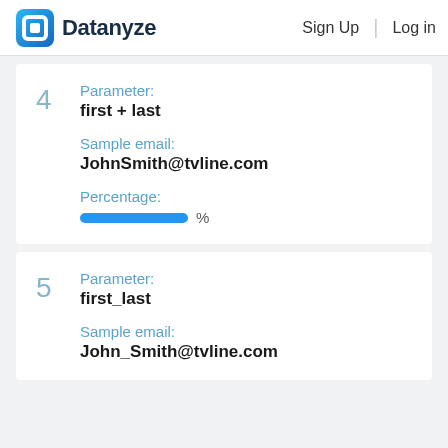Datanyze  Sign Up  Log in
4  Parameter: first + last  Sample email: JohnSmith@tvline.com  Percentage: %
5  Parameter: first_last  Sample email: John_Smith@tvline.com